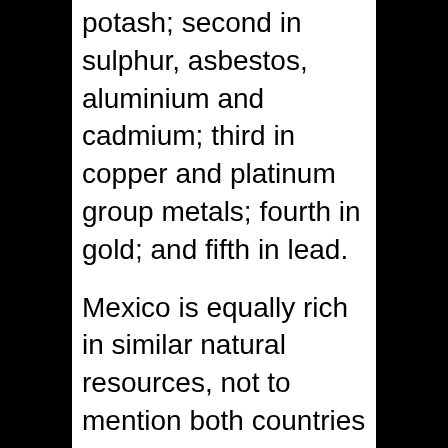potash; second in sulphur, asbestos, aluminium and cadmium; third in copper and platinum group metals; fourth in gold; and fifth in lead.
Mexico is equally rich in similar natural resources, not to mention both countries have vast untapped oil reserves.